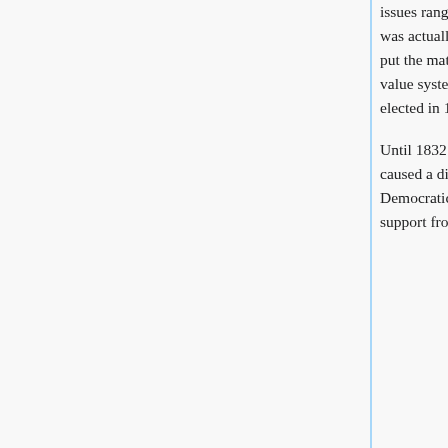issues ranging from banking to the removal of the Creek Indians, but Thornton suggests that there was actually only one issue in the state's politics: how to protect liberty and white equality, or, to put the matter another way, how to avoid slavery. Fears that Northern agitators threatened their value system angered the voters and made them ready to secede when Abraham Lincoln was elected in 1860. [Thornton 1978]
Until 1832 there was only one party in the state, the Democratic, but the question of nullification caused a division that year into the (Jackson) Democratic party and the State's Rights (Calhoun Democratic) party; about the same time an opposition party emerged, the Whig party. It drew support from plantation